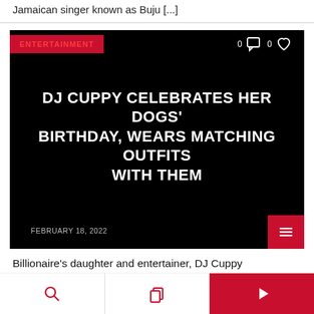Jamaican singer known as Buju [...]
[Figure (screenshot): Entertainment article card with black background showing article title 'DJ CUPPY CELEBRATES HER DOGS' BIRTHDAY, WEARS MATCHING OUTFITS WITH THEM', date February 18, 2022, with red ENTERTAINMENT label and social icons.]
Billionaire's daughter and entertainer, DJ Cuppy
Bottom navigation bar with search, copy, and play icons